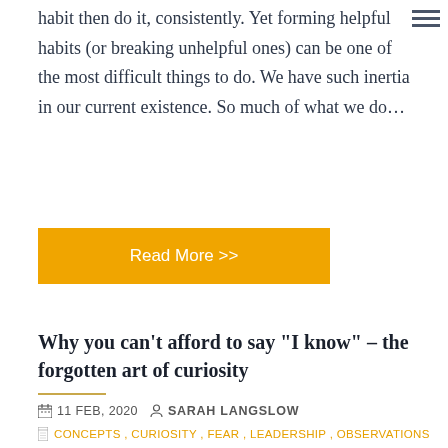habit then do it, consistently. Yet forming helpful habits (or breaking unhelpful ones) can be one of the most difficult things to do. We have such inertia in our current existence. So much of what we do…
Read More >>
Why you can't afford to say “I know” – the forgotten art of curiosity
11 FEB, 2020   SARAH LANGSLOW
CONCEPTS , CURIOSITY , FEAR , LEADERSHIP , OBSERVATIONS
How many times today have you said “I know”? Or perhaps you just thought it to yourself, alongside an inward eye roll. The moment it happens is usually the moment we stop